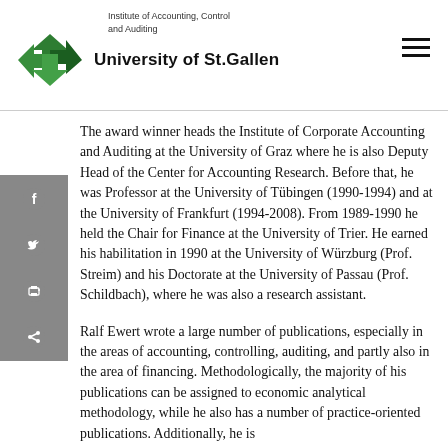Institute of Accounting, Control and Auditing
University of St.Gallen
The award winner heads the Institute of Corporate Accounting and Auditing at the University of Graz where he is also Deputy Head of the Center for Accounting Research. Before that, he was Professor at the University of Tübingen (1990-1994) and at the University of Frankfurt (1994-2008). From 1989-1990 he held the Chair for Finance at the University of Trier. He earned his habilitation in 1990 at the University of Würzburg (Prof. Streim) and his Doctorate at the University of Passau (Prof. Schildbach), where he was also a research assistant.
Ralf Ewert wrote a large number of publications, especially in the areas of accounting, controlling, auditing, and partly also in the area of financing. Methodologically, the majority of his publications can be assigned to economic analytical methodology, while he also has a number of practice-oriented publications. Additionally, he is